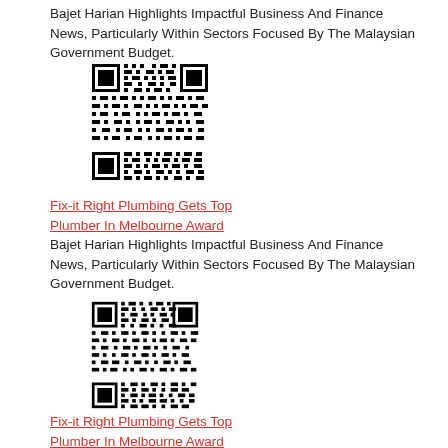Bajet Harian Highlights Impactful Business And Finance News, Particularly Within Sectors Focused By The Malaysian Government Budget.
[Figure (other): QR code image (black and white 2D barcode)]
Fix-it Right Plumbing Gets Top Plumber In Melbourne Award
Bajet Harian Highlights Impactful Business And Finance News, Particularly Within Sectors Focused By The Malaysian Government Budget.
[Figure (other): QR code image (black and white 2D barcode)]
Fix-it Right Plumbing Gets Top Plumber In Melbourne Award
Bajet Harian Highlights Impactful Business And Finance News, Particularly Within Sectors Focused By The Malaysian Government Budget.